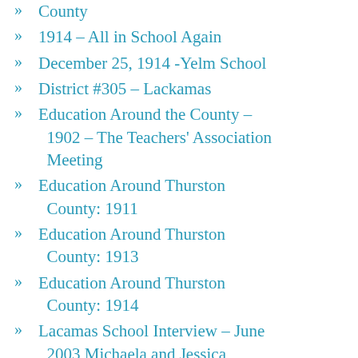County
1914 - All in School Again
December 25, 1914 -Yelm School
District #305 - Lackamas
Education Around the County - 1902 - The Teachers' Association Meeting
Education Around Thurston County: 1911
Education Around Thurston County: 1913
Education Around Thurston County: 1914
Lacamas School Interview - June 2003 Michaela and Jessica Murdock Interviewing Dillard Jenson